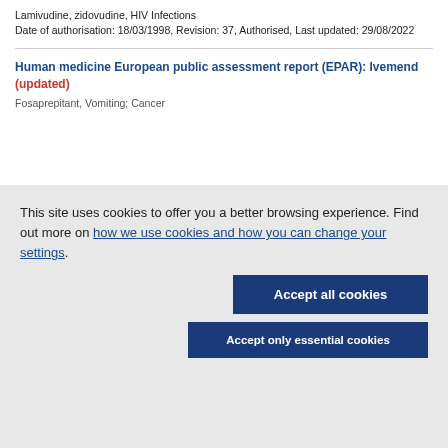Lamivudine, zidovudine, HIV Infections
Date of authorisation: 18/03/1998, Revision: 37, Authorised, Last updated: 29/08/2022
Human medicine European public assessment report (EPAR): Ivemend (updated)
Fosaprepitant, Vomiting; Cancer
This site uses cookies to offer you a better browsing experience. Find out more on how we use cookies and how you can change your settings.
Accept all cookies
Accept only essential cookies